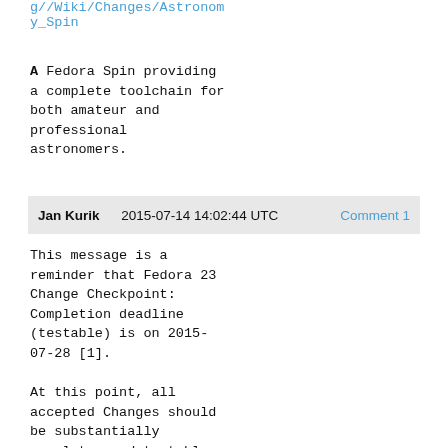g//Wiki/Changes/Astronomy_Spin
A Fedora Spin providing a complete toolchain for both amateur and professional astronomers.
Jan Kurik   2015-07-14 14:02:44 UTC   Comment 1
This message is a reminder that Fedora 23 Change Checkpoint: Completion deadline (testable) is on 2015-07-28 [1].

At this point, all accepted Changes should be substantially complete, and testable. Additionally, if a change is to be enabled by default, it must be so enabled at Change Completion deadline...